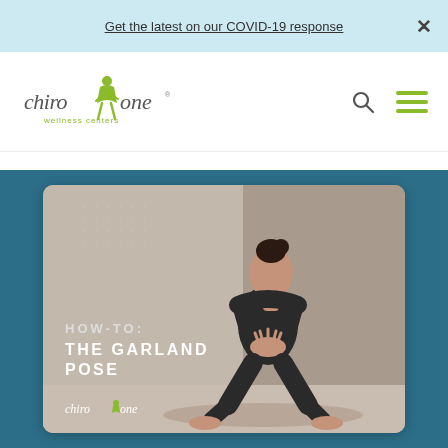Get the latest on our COVID-19 response  ×
[Figure (logo): ChiroOne Wellness Centers logo — stylized person silhouette in green with 'chiroone wellness centers' text]
[Figure (photo): Yoga/wellness blog card showing a woman in black athletic wear performing the Garland Pose (deep squat with hands pressed together at chest) against a grey concrete background. Overlaid text reads HOW-TO: THE GARLAND POSE with ChiroOne logo at bottom left. Card sits over a teal/dark blue background.]